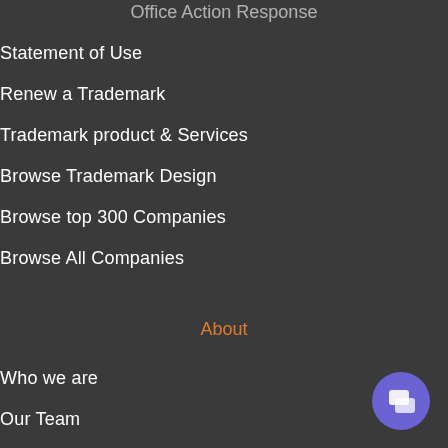Office Action Response
Statement of Use
Renew a Trademark
Trademark product & Services
Browse Trademark Design
Browse top 300 Companies
Browse All Companies
About
Who we are
Our Team
Our Commitment and Privacy
[Figure (illustration): Purple circular chat bubble button in bottom-right corner]